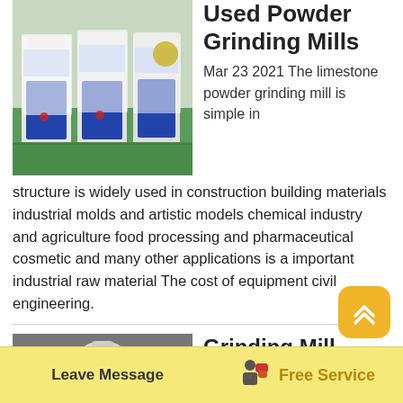[Figure (photo): Industrial powder grinding mills wrapped in white packaging, blue bases, in a factory setting with green floor]
Used Powder Grinding Mills
Mar 23 2021 The limestone powder grinding mill is simple in structure is widely used in construction building materials industrial molds and artistic models chemical industry and agriculture food processing and pharmaceutical cosmetic and many other applications is a important industrial raw material The cost of equipment civil engineering.
[Figure (photo): White industrial grinding mill machine (Raymond Mill) in a factory/warehouse setting]
Grinding Mill Zenith Crusher
Raymond Mill Raymond mill has a history of over 100 years So it has been updated to the Raymond
Leave Message   Free Service